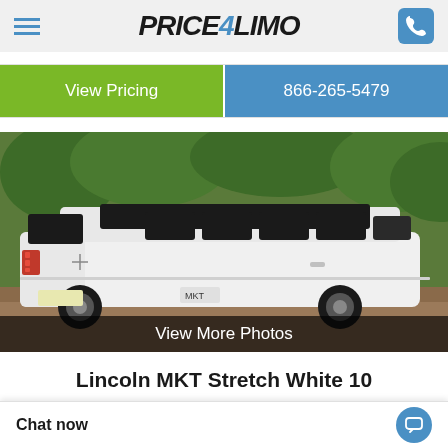PRICE4LIMO
View Pricing
866-265-5479
[Figure (photo): White Lincoln MKT Stretch limousine photographed from rear three-quarter angle, parked on a driveway surrounded by trees. The vehicle is elongated with black tinted windows and distinctive Lincoln rear tail lights.]
View More Photos
Lincoln MKT Stretch White 10 Passenger #16341
Chat now